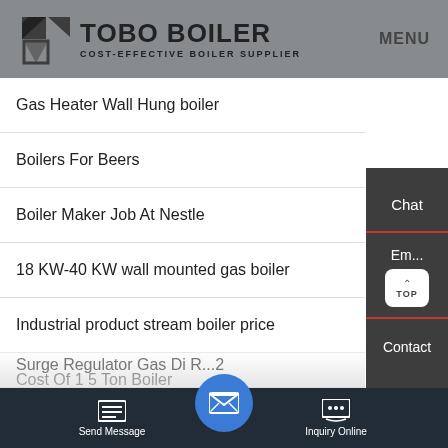TOBO BOILER — COST-EFFECTIVE BOILER SUPPLIER | MENU
Gas Heater Wall Hung boiler
Boilers For Beers
Boiler Maker Job At Nestle
18 KW-40 KW wall mounted gas boiler
Industrial product stream boiler price
Cost Of 1 5 Ton Boiler
Surge Regulator Gas Di R...2
Send Message | Inquiry Online